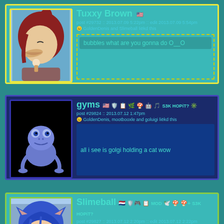[Figure (screenshot): Forum/social post by Tuxxy Brown with anime avatar, post #29732 dated 2013.07.09 5:22pm, liked by GoldenDenis and Slimeball, message: bubbles what are you gonna do O__O]
[Figure (screenshot): Forum/social post by gyms with blue frog avatar on black background, post #29824 dated 2013.07.12 1:47pm, liked by GoldenDenis, mootbooxle and goluigi, message: all i see is golgi holding a cat wow]
[Figure (screenshot): Forum/social post by Slimeball with anime blue-haired avatar, post #29827 dated 2013.07.12 2:20pm edit 2:22pm, liked by GoldenDenis, goluigi and Tuxxy Brown; stinkbug haeitd this]